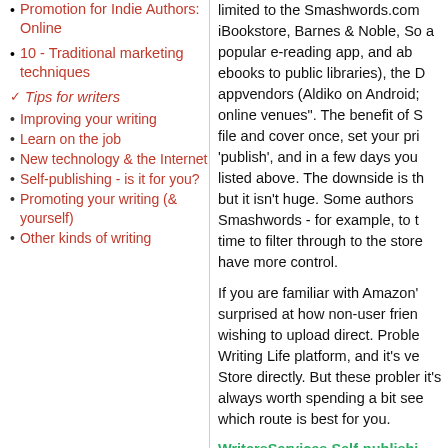Promotion for Indie Authors: Online
10 - Traditional marketing techniques
Tips for writers
Improving your writing
Learn on the job
New technology & the Internet
Self-publishing - is it for you?
Promoting your writing (& yourself)
Other kinds of writing
limited to the Smashwords.com iBookstore, Barnes & Noble, So a popular e-reading app, and ab ebooks to public libraries), the D appvendors (Aldiko on Android; online venues". The benefit of S file and cover once, set your pri 'publish', and in a few days you listed above. The downside is th but it isn't huge. Some authors Smashwords - for example, to t time to filter through to the store have more control.
If you are familiar with Amazon' surprised at how non-user frien wishing to upload direct. Proble Writing Life platform, and it's ve Store directly. But these probler it's always worth spending a bit see which route is best for you.
WritersServices Self-publishi
publishing service, as well as its reading services.